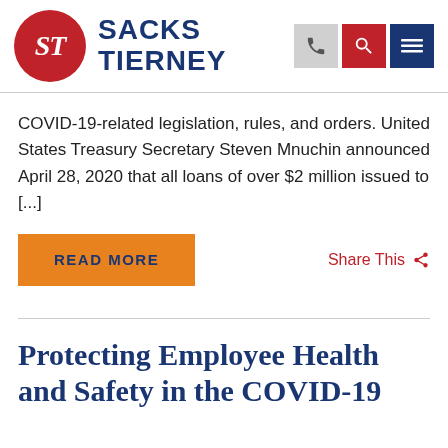SACKS TIERNEY
COVID-19-related legislation, rules, and orders. United States Treasury Secretary Steven Mnuchin announced April 28, 2020 that all loans of over $2 million issued to [...]
READ MORE
Share This
Protecting Employee Health and Safety in the COVID-19